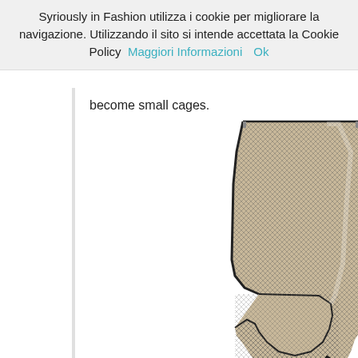Syriously in Fashion utilizza i cookie per migliorare la navigazione. Utilizzando il sito si intende accettata la Cookie Policy  Maggiori Informazioni    Ok
become small cages.
[Figure (photo): A tall knee-high boot with a fishnet/mesh fabric upper in grey/taupe color, stiletto heel with red sole (Christian Louboutin style), open toe with a small bow detail at the toe, black trim edges, shown on white background.]